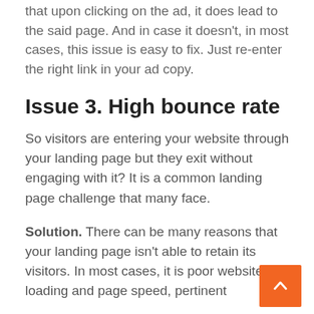that upon clicking on the ad, it does lead to the said page. And in case it doesn't, in most cases, this issue is easy to fix. Just re-enter the right link in your ad copy.
Issue 3. High bounce rate
So visitors are entering your website through your landing page but they exit without engaging with it? It is a common landing page challenge that many face.
Solution. There can be many reasons that your landing page isn't able to retain its visitors. In most cases, it is poor website loading and page speed, pertinent